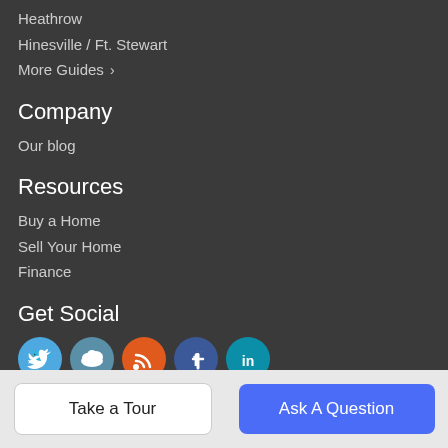Heathrow
Hinesville / Ft. Stewart
More Guides ›
Company
Our blog
Resources
Buy a Home
Sell Your Home
Finance
Get Social
[Figure (illustration): Five social media icon buttons: Twitter (blue), cloud/blog (steel blue), RSS (orange), Facebook (dark blue), LinkedIn (teal)]
Take a Tour | Ask A Question